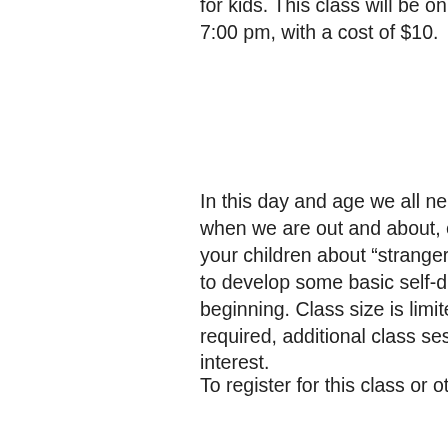College in Torrington has announced a self-defense class for kids. This class will be on held Tuesdays at 7:00 pm, with a cost of $10.

In this day and age we all need to be more aware when we are out and about, even kids. Teaching your children about "stranger danger" is great, but to develop some basic self-defense skills is a good beginning. Class size is limited to 10 students. If required, additional class sessions can be added based on interest.

To register for this class or other classes call the Community Education office at 307. You can also visit them in the new CTEC building at 3rd and Main in Torrington.